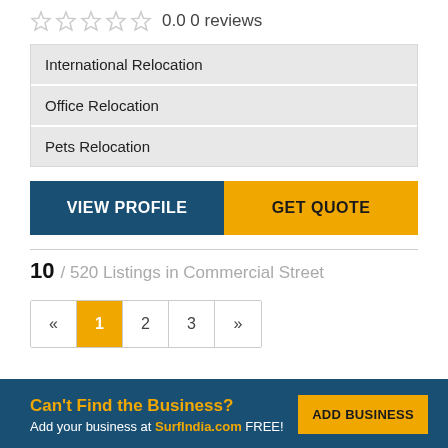0.0 0 reviews
International Relocation
Office Relocation
Pets Relocation
VIEW PROFILE
GET QUOTE
10 / 520 Listings in Commercial Street
« 1 2 3 »
Can't Find the Business? Add your business at SurfIndia.com FREE!
ADD BUSINESS